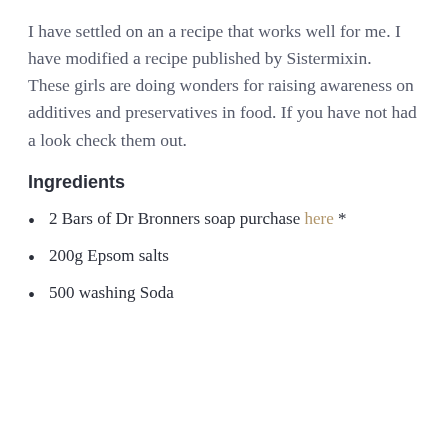I have settled on an a recipe that works well for me. I have modified a recipe published by Sistermixin.  These girls are doing wonders for raising awareness on additives and preservatives in food. If you have not had a look check them out.
Ingredients
2 Bars of Dr Bronners soap purchase here *
200g Epsom salts
500 washing Soda